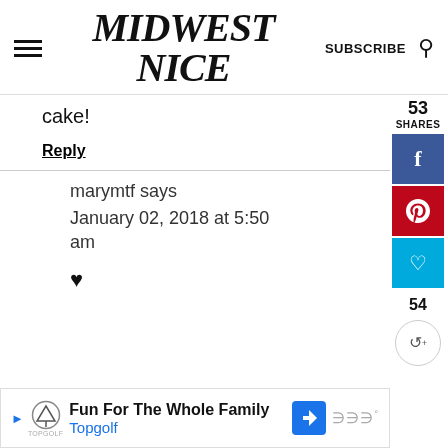MIDWEST NICE | SUBSCRIBE
cake!
Reply
marymtf says
January 02, 2018 at 5:50 am
♥
53 SHARES
[Figure (screenshot): Social share sidebar with Facebook (f), Pinterest (p), and heart/like buttons, showing 53 shares count and 54 count below]
Fun For The Whole Family Topgolf